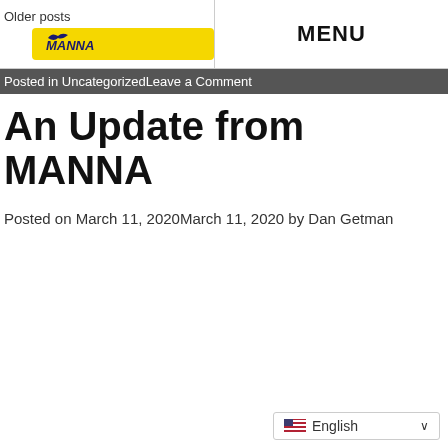Older posts | MANNA | MENU
Posted in UncategorizedLeave a Comment
An Update from MANNA
Posted on March 11, 2020March 11, 2020 by Dan Getman
[Figure (other): English language selector dropdown with US flag icon]